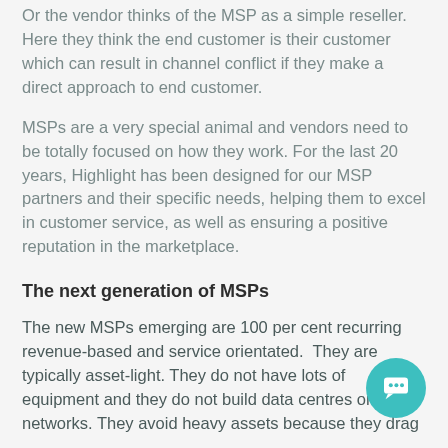Or the vendor thinks of the MSP as a simple reseller. Here they think the end customer is their customer which can result in channel conflict if they make a direct approach to end customer.
MSPs are a very special animal and vendors need to be totally focused on how they work. For the last 20 years, Highlight has been designed for our MSP partners and their specific needs, helping them to excel in customer service, as well as ensuring a positive reputation in the marketplace.
The next generation of MSPs
The new MSPs emerging are 100 per cent recurring revenue-based and service orientated.  They are typically asset-light. They do not have lots of equipment and they do not build data centres or networks. They avoid heavy assets because they drag